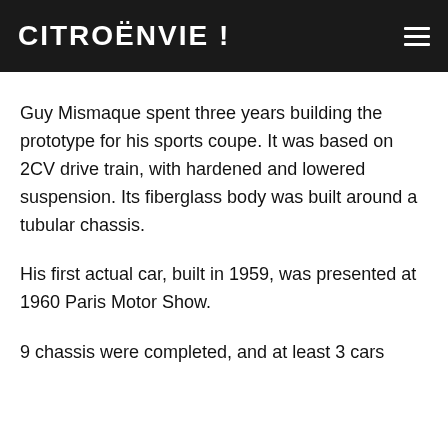CITROËNVIE !
Guy Mismaque spent three years building the prototype for his sports coupe. It was based on 2CV drive train, with hardened and lowered suspension. Its fiberglass body was built around a tubular chassis.
His first actual car, built in 1959, was presented at 1960 Paris Motor Show.
9 chassis were completed, and at least 3 cars